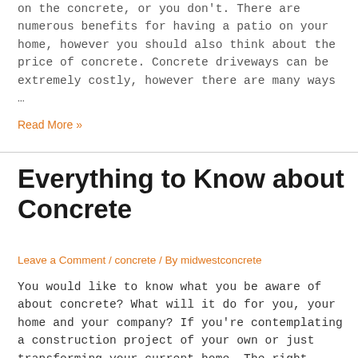on the concrete, or you don't. There are numerous benefits for having a patio on your home, however you should also think about the price of concrete. Concrete driveways can be extremely costly, however there are many ways …
Read More »
Everything to Know about Concrete
Leave a Comment / concrete / By midwestconcrete
You would like to know what you be aware of about concrete? What will it do for you, your home and your company? If you're contemplating a construction project of your own or just transforming your current home. The right concrete